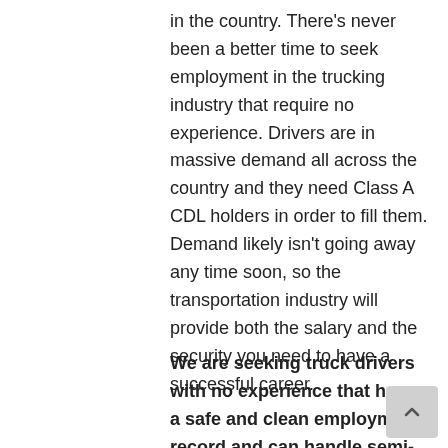in the country. There's never been a better time to seek employment in the trucking industry that require no experience. Drivers are in massive demand all across the country and they need Class A CDL holders in order to fill them. Demand likely isn't going away any time soon, so the transportation industry will provide both the salary and the security you need to have a successful career.
We are seeking truck drivers with no experience that have a safe and clean employment record and can handle semi-